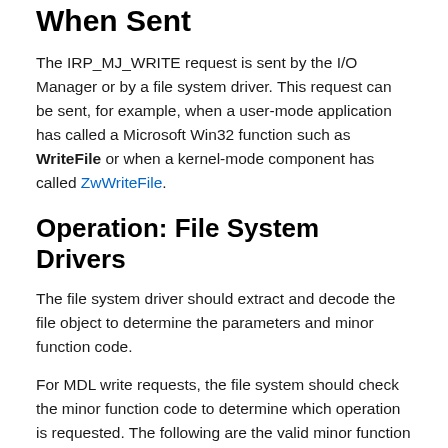When Sent
The IRP_MJ_WRITE request is sent by the I/O Manager or by a file system driver. This request can be sent, for example, when a user-mode application has called a Microsoft Win32 function such as WriteFile or when a kernel-mode component has called ZwWriteFile.
Operation: File System Drivers
The file system driver should extract and decode the file object to determine the parameters and minor function code.
For MDL write requests, the file system should check the minor function code to determine which operation is requested. The following are the valid minor function codes, which can be used only for cached file I/O: